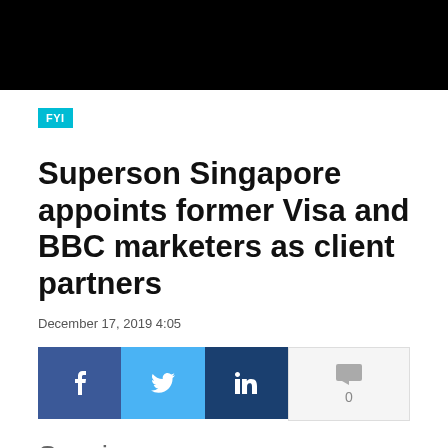FYI
Superson Singapore appoints former Visa and BBC marketers as client partners
December 17, 2019 4:05
[Figure (other): Social sharing bar with Facebook, Twitter, LinkedIn buttons and comment count of 0]
Specialist agen